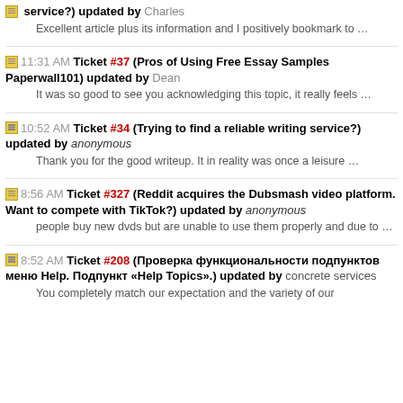service?) updated by Charles
Excellent article plus its information and I positively bookmark to …
11:31 AM Ticket #37 (Pros of Using Free Essay Samples Paperwall101) updated by Dean
It was so good to see you acknowledging this topic, it really feels …
10:52 AM Ticket #34 (Trying to find a reliable writing service?) updated by anonymous
Thank you for the good writeup. It in reality was once a leisure …
8:56 AM Ticket #327 (Reddit acquires the Dubsmash video platform. Want to compete with TikTok?) updated by anonymous
people buy new dvds but are unable to use them properly and due to …
8:52 AM Ticket #208 (Проверка функциональности подпунктов меню Help. Подпункт «Help Topics».) updated by concrete services
You completely match our expectation and the variety of our